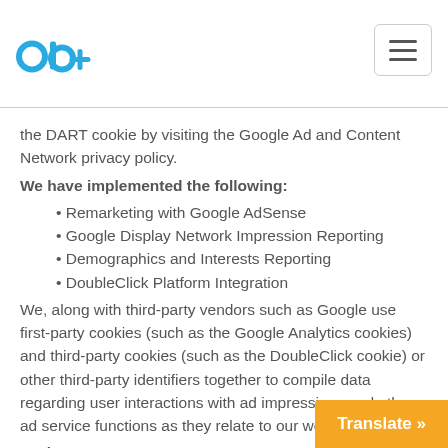ab+ logo and navigation hamburger menu
the DART cookie by visiting the Google Ad and Content Network privacy policy.
We have implemented the following:
Remarketing with Google AdSense
Google Display Network Impression Reporting
Demographics and Interests Reporting
DoubleClick Platform Integration
We, along with third-party vendors such as Google use first-party cookies (such as the Google Analytics cookies) and third-party cookies (such as the DoubleClick cookie) or other third-party identifiers together to compile data regarding user interactions with ad impressions and other ad service functions as they relate to our website.
Opting out:
Users can set preferences for how Google advertises to you using the Google Ad Settings page. Alternatively, you can opt out by visiting the Network Advertising